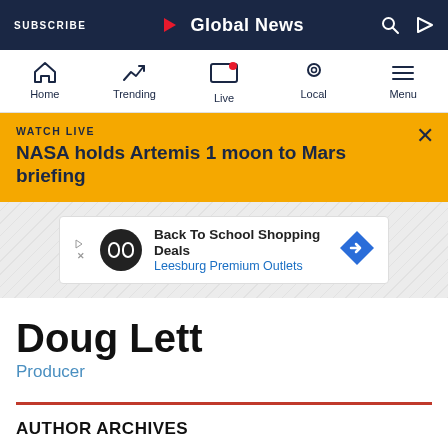SUBSCRIBE | Global News | Search | Play
[Figure (screenshot): Global News navigation bar with Home, Trending, Live, Local, Menu icons]
WATCH LIVE
NASA holds Artemis 1 moon to Mars briefing
[Figure (screenshot): Advertisement: Back To School Shopping Deals - Leesburg Premium Outlets]
Doug Lett
Producer
AUTHOR ARCHIVES